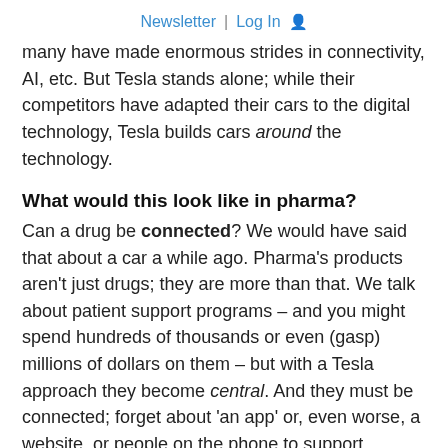Newsletter | Log In
many have made enormous strides in connectivity, AI, etc. But Tesla stands alone; while their competitors have adapted their cars to the digital technology, Tesla builds cars around the technology.
What would this look like in pharma?
Can a drug be connected? We would have said that about a car a while ago. Pharma's products aren't just drugs; they are more than that. We talk about patient support programs – and you might spend hundreds of thousands or even (gasp) millions of dollars on them – but with a Tesla approach they become central. And they must be connected; forget about 'an app' or, even worse, a website, or people on the phone to support patients and prescribers. A truly digital approach